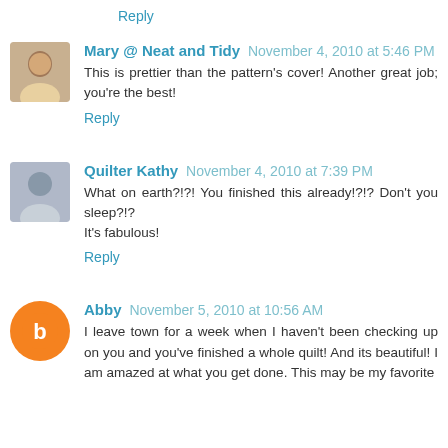Reply
Mary @ Neat and Tidy November 4, 2010 at 5:46 PM
This is prettier than the pattern's cover! Another great job; you're the best!
Reply
Quilter Kathy November 4, 2010 at 7:39 PM
What on earth?!?! You finished this already!?!? Don't you sleep?!?
It's fabulous!
Reply
Abby November 5, 2010 at 10:56 AM
I leave town for a week when I haven't been checking up on you and you've finished a whole quilt! And its beautiful! I am amazed at what you get done. This may be my favorite